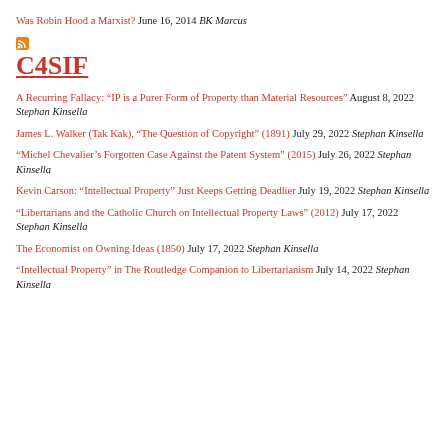Was Robin Hood a Marxist? June 16, 2014 BK Marcus
[Figure (other): RSS feed icon]
C4SIF
A Recurring Fallacy: “IP is a Purer Form of Property than Material Resources” August 8, 2022 Stephan Kinsella
James L. Walker (Tak Kak), “The Question of Copyright” (1891) July 29, 2022 Stephan Kinsella
“Michel Chevalier’s Forgotten Case Against the Patent System” (2015) July 26, 2022 Stephan Kinsella
Kevin Carson: “Intellectual Property” Just Keeps Getting Deadlier July 19, 2022 Stephan Kinsella
“Libertarians and the Catholic Church on Intellectual Property Laws” (2012) July 17, 2022 Stephan Kinsella
The Economist on Owning Ideas (1850) July 17, 2022 Stephan Kinsella
“Intellectual Property” in The Routledge Companion to Libertarianism July 14, 2022 Stephan Kinsella